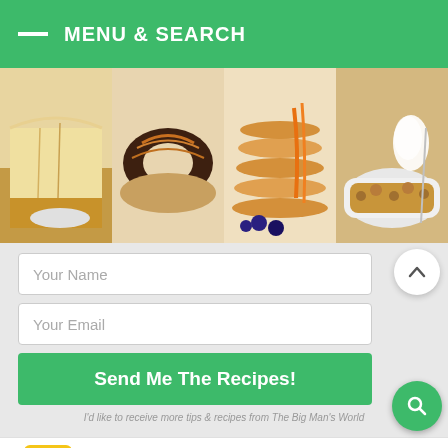MENU & SEARCH
[Figure (photo): Four food photos side-by-side: cheesecake slice, chocolate donut, stack of pancakes with syrup and blueberries, apple crumble with ice cream]
Your Name
Your Email
Send Me The Recipes!
I'd like to receive more tips & recipes from The Big Man's World
[Figure (other): Walk-Ins Available Hair Cuttery advertisement banner with yellow/black HC logo and blue navigation arrow icon]